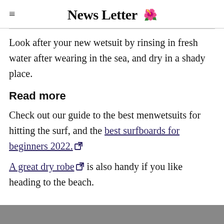News Letter
Look after your new wetsuit by rinsing in fresh water after wearing in the sea, and dry in a shady place.
Read more
Check out our guide to the best menwetsuits for hitting the surf, and the best surfboards for beginners 2022.
A great dry robe is also handy if you like heading to the beach.